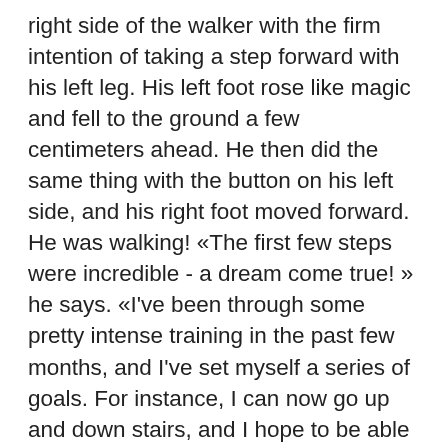right side of the walker with the firm intention of taking a step forward with his left leg. His left foot rose like magic and fell to the ground a few centimeters ahead. He then did the same thing with the button on his left side, and his right foot moved forward. He was walking! «The first few steps were incredible - a dream come true! » he says. «I've been through some pretty intense training in the past few months, and I've set myself a series of goals. For instance, I can now go up and down stairs, and I hope to be able to walk one kilometer by this spring. » Two other patients have also successfully tested the new system, which is described in an article appearing today in Nature Medicine. «Our breakthrough here is the longer, wider implanted leads with electrodes arranged in a way that corresponds exactly to the spinal nerve roots,» says Bloch. «That gives us precise control over the neurons